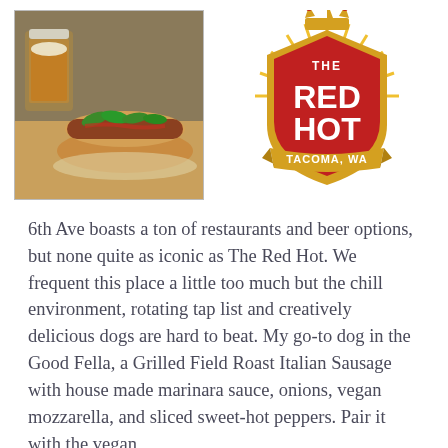[Figure (photo): Photo of a hot dog with toppings and a glass of beer on a table at The Red Hot restaurant in Tacoma, WA]
[Figure (logo): The Red Hot Tacoma, WA badge/shield logo with red and gold colors and a crown on top]
6th Ave boasts a ton of restaurants and beer options, but none quite as iconic as The Red Hot. We frequent this place a little too much but the chill environment, rotating tap list and creatively delicious dogs are hard to beat. My go-to dog in the Good Fella, a Grilled Field Roast Italian Sausage with house made marinara sauce, onions, vegan mozzarella, and sliced sweet-hot peppers. Pair it with the vegan